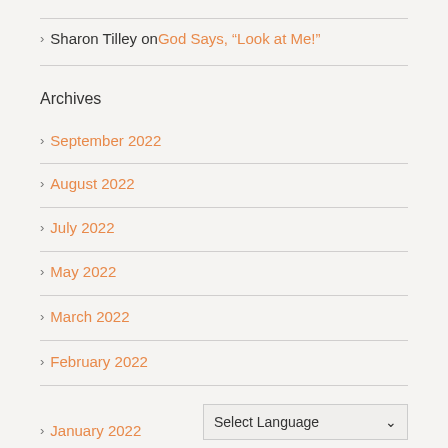Sharon Tilley on God Says, “Look at Me!”
Archives
September 2022
August 2022
July 2022
May 2022
March 2022
February 2022
January 2022